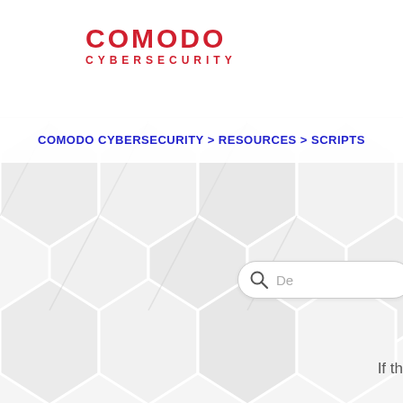[Figure (logo): Comodo Cybersecurity logo with red bold text COMODO and smaller CYBERSECURITY below]
COMODO CYBERSECURITY > RESOURCES > SCRIPTS
[Figure (screenshot): Search bar with magnifying glass icon and placeholder text 'De']
If th